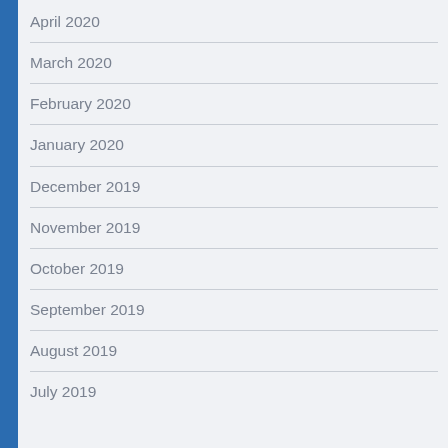April 2020
March 2020
February 2020
January 2020
December 2019
November 2019
October 2019
September 2019
August 2019
July 2019